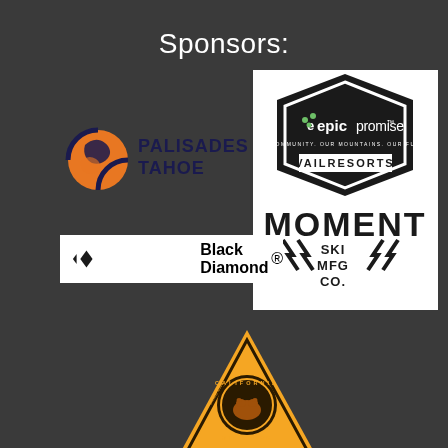Sponsors:
[Figure (logo): Palisades Tahoe logo with orange hawk/bird icon and dark blue text]
[Figure (logo): Epic Promise by Vail Resorts logo on white hexagonal badge, with Moment Ski MFG Co. logo below]
[Figure (logo): Black Diamond logo with diamond shape icon and bold text on white background]
[Figure (logo): California State Parks OHV Funds At Work orange triangle logo]